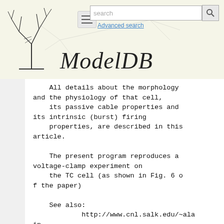[Figure (logo): ModelDB website header with logo (neuron tree illustration), hamburger menu, search box, advanced search link, and ModelDB title in italic serif font]
All details about the morphology
and the physiology of that cell,
    its passive cable properties and
its intrinsic (burst) firing
    properties, are described in this
article.

    The present program reproduces a
voltage-clamp experiment on
    the TC cell (as shown in Fig. 6 o
f the paper)

    See also:
            http://www.cnl.salk.edu/~ala
in
            http://cns.fmed.ulaval.ca


    Alain Destexhe, Laval University,
1997